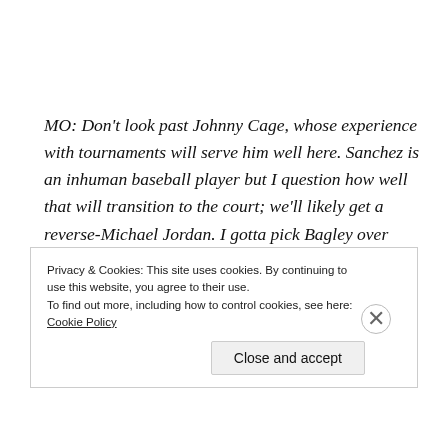MO: Don't look past Johnny Cage, whose experience with tournaments will serve him well here. Sanchez is an inhuman baseball player but I question how well that will transition to the court; we'll likely get a reverse-Michael Jordan. I gotta pick Bagley over Ayton only because I think Duke gets farther in the tournament, giving Bagley more screen time.
Privacy & Cookies: This site uses cookies. By continuing to use this website, you agree to their use. To find out more, including how to control cookies, see here: Cookie Policy
Close and accept